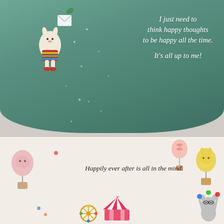[Figure (photo): Top image: A children's book page with a teal/green background showing a whimsical character (bunny/animal in a colorful outfit) floating/flying, with a white envelope, sparkle stars around, and handwritten-style white italic text reading: 'I just need to think happy thoughts to be happy all the time. It's all up to me!']
[Figure (photo): Bottom image: A children's book page with a light/white background. Small illustrated characters float: a pink cat in a hot air balloon (left), a candy/ice cream balloon (top right), a yellow bunny in a yellow balloon (right), a ferris wheel, a carousel/circus tent, a juggling raccoon (bottom right), and colorful dots. Italic handwritten-style text reads: 'Happily ever after is all in the mind.']